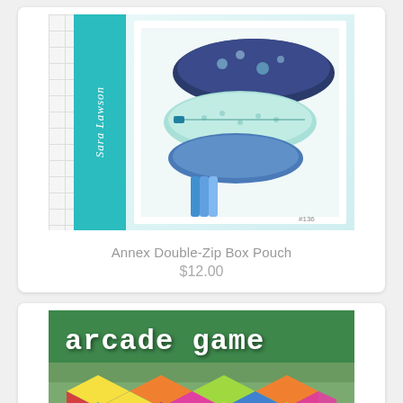[Figure (photo): Product listing card for 'Annex Double-Zip Box Pouch' sewing pattern by Sara Lawson. Shows a teal-colored pattern cover with grid background, teal vertical bar with author name, and photo of zippered pouches with pens.]
Annex Double-Zip Box Pouch
$12.00
[Figure (photo): Product listing card for 'arcade game' quilt pattern. Shows a colorful quilt with 3D tumbling blocks/cubes in bright colors including pink, purple, orange, teal, green and yellow.]